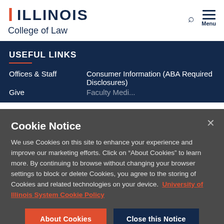I ILLINOIS College of Law
USEFUL LINKS
Offices & Staff
Give
Consumer Information (ABA Required Disclosures)
Faculty Media
Cookie Notice
We use Cookies on this site to enhance your experience and improve our marketing efforts. Click on “About Cookies” to learn more. By continuing to browse without changing your browser settings to block or delete Cookies, you agree to the storing of Cookies and related technologies on your device.  University of Illinois System Cookie Policy
About Cookies | Close this Notice